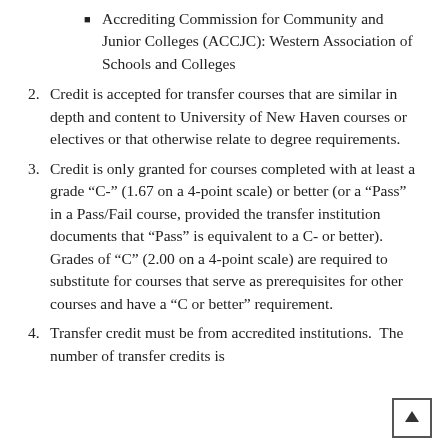Accrediting Commission for Community and Junior Colleges (ACCJC): Western Association of Schools and Colleges
2. Credit is accepted for transfer courses that are similar in depth and content to University of New Haven courses or electives or that otherwise relate to degree requirements.
3. Credit is only granted for courses completed with at least a grade “C-” (1.67 on a 4-point scale) or better (or a “Pass” in a Pass/Fail course, provided the transfer institution documents that “Pass” is equivalent to a C- or better). Grades of “C” (2.00 on a 4-point scale) are required to substitute for courses that serve as prerequisites for other courses and have a “C or better” requirement.
4. Transfer credit must be from accredited institutions. The number of transfer credits is